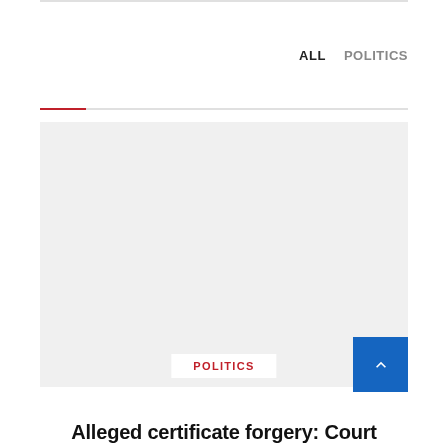ALL   POLITICS
[Figure (photo): Large placeholder image area with light gray background, representing a news article featured image.]
POLITICS
Alleged certificate forgery: Court